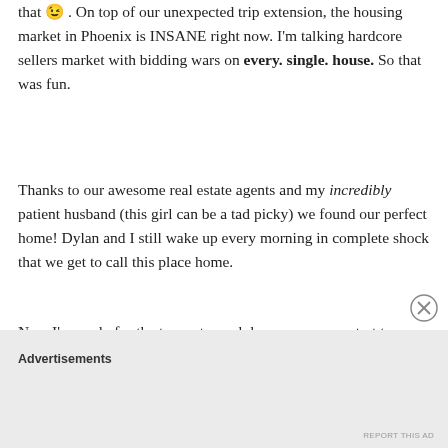that 😉 . On top of our unexpected trip extension, the housing market in Phoenix is INSANE right now. I'm talking hardcore sellers market with bidding wars on every. single. house. So that was fun.
Thanks to our awesome real estate agents and my incredibly patient husband (this girl can be a tad picky) we found our perfect home! Dylan and I still wake up every morning in complete shock that we get to call this place home.
Now I'm ready for the temps to cool down so we can start to enjoy the best part about living in Arizona, the nine months of perfect weather and outdoor living. Bring on the Fall weather and toasted marshmallow season!
Advertisements